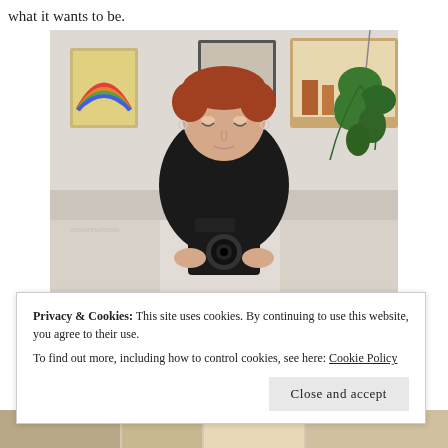what it wants to be.
[Figure (photo): A woman with short red hair wearing a black v-neck top, sitting on a white sofa holding a camera, with framed artwork and a hanging plant in the background.]
Privacy & Cookies: This site uses cookies. By continuing to use this website, you agree to their use.
To find out more, including how to control cookies, see here: Cookie Policy
Close and accept